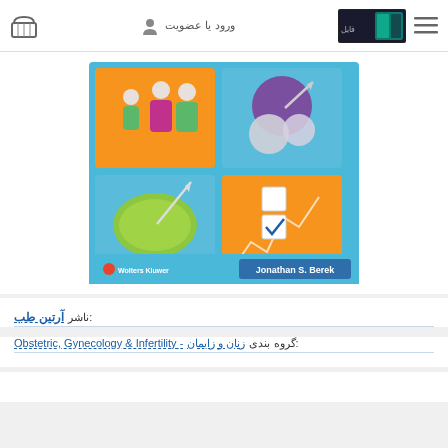ورود یا عضویت
[Figure (illustration): Book cover for a medical text on Obstetrics, Gynecology and Infertility by Jonathan S. Berek, published by Wolters Kluwer. Cover shows four illustrated panels: family figures, cell/egg illustration, needle and cell, and a checklist/chart icon, on a teal/blue background.]
ناشر: آرتین طب
گروه بندی : زنان و زایمان - Obstetric, Gynecology & Infertility